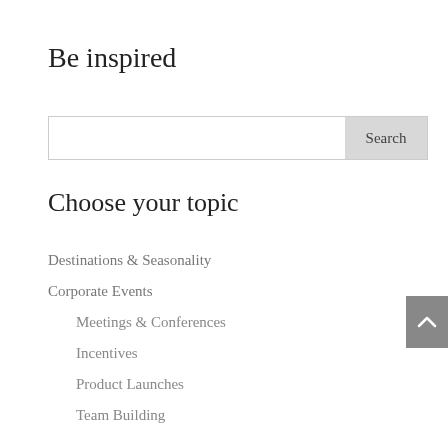Be inspired
[Figure (other): Search input box with a Search button on the right]
Choose your topic
Destinations & Seasonality
Corporate Events
Meetings & Conferences
Incentives
Product Launches
Team Building